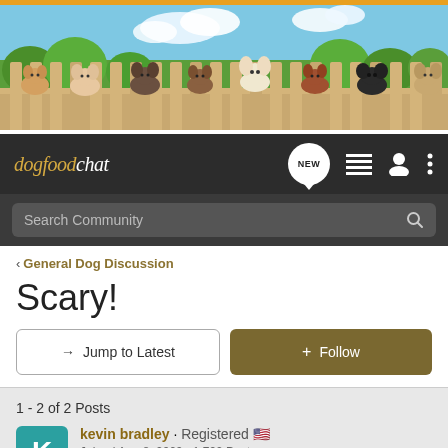[Figure (illustration): Banner image showing multiple dogs peeking over a wooden fence with trees and sky in background]
dogfoodchat — navigation bar with NEW button, list icon, user icon, and more options icon
Search Community
< General Dog Discussion
Scary!
→ Jump to Latest
+ Follow
1 - 2 of 2 Posts
kevin bradley · Registered 🇺🇸
Joined Aug 8, 2009 · 1,792 Posts